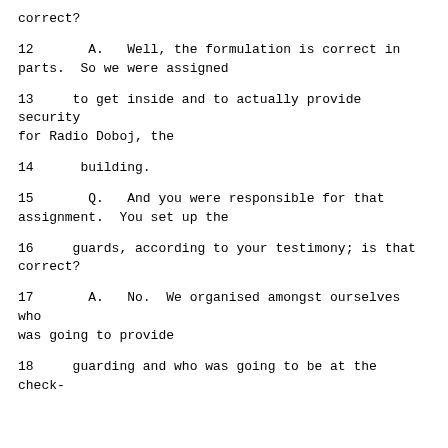correct?
12       A.   Well, the formulation is correct in parts.  So we were assigned
13       to get inside and to actually provide security for Radio Doboj, the
14       building.
15       Q.   And you were responsible for that assignment.  You set up the
16       guards, according to your testimony; is that correct?
17       A.   No.  We organised amongst ourselves who was going to provide
18       guarding and who was going to be at the check-